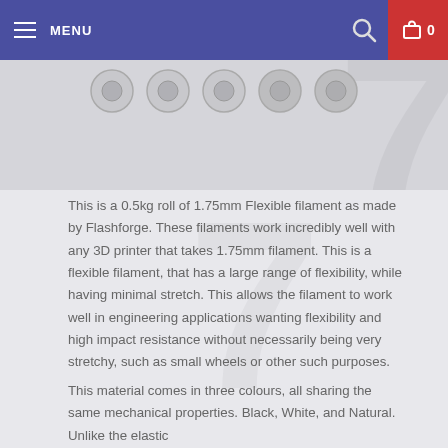MENU | 0
[Figure (photo): Product image area showing filament spools in various colors (partial view at top), with a large watermark number 7 in the background]
This is a 0.5kg roll of 1.75mm Flexible filament as made by Flashforge. These filaments work incredibly well with any 3D printer that takes 1.75mm filament. This is a flexible filament, that has a large range of flexibility, while having minimal stretch. This allows the filament to work well in engineering applications wanting flexibility and high impact resistance without necessarily being very stretchy, such as small wheels or other such purposes.
This material comes in three colours, all sharing the same mechanical properties. Black, White, and Natural. Unlike the elastic